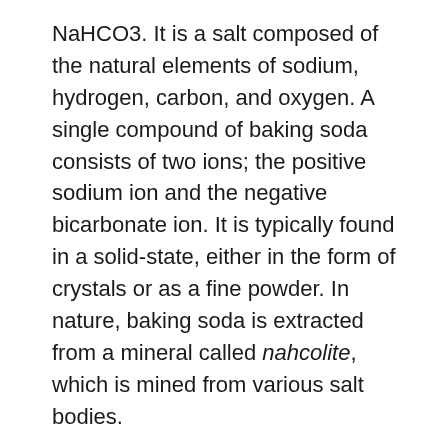NaHCO3. It is a salt composed of the natural elements of sodium, hydrogen, carbon, and oxygen. A single compound of baking soda consists of two ions; the positive sodium ion and the negative bicarbonate ion. It is typically found in a solid-state, either in the form of crystals or as a fine powder. In nature, baking soda is extracted from a mineral called nahcolite, which is mined from various salt bodies.
Baking soda has been in use for several centuries in different forms. It has been found that, in the year 3500 BC, the Ancient Egyptians used a similar chemical, called natron, for a variety of purposes. However, the industrial production of baking soda was started, as mentioned, in 1846, when two bakers from New York, John Dwight and Austin Church, established a factory to develop the